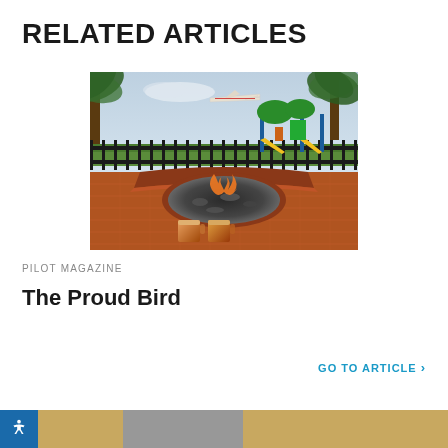RELATED ARTICLES
[Figure (photo): Outdoor patio area with brick surround and fire pit, copper mugs in foreground, black iron fence in middle ground with colorful playground equipment visible behind it, palm trees and an airplane in the sky background.]
PILOT MAGAZINE
The Proud Bird
GO TO ARTICLE >